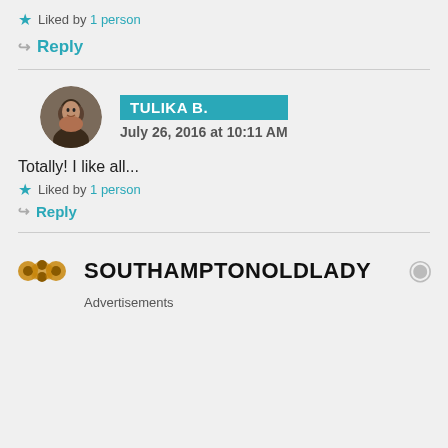Liked by 1 person
Reply
TULIKA B. — July 26, 2016 at 10:11 AM
Totally! I like all...
Liked by 1 person
Reply
SOUTHAMPTONOLDLADY — Advertisements